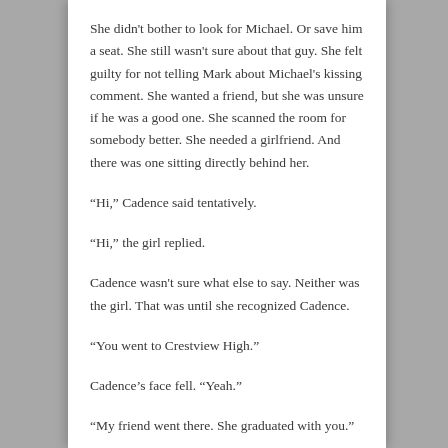She didn't bother to look for Michael. Or save him a seat. She still wasn't sure about that guy. She felt guilty for not telling Mark about Michael's kissing comment. She wanted a friend, but she was unsure if he was a good one. She scanned the room for somebody better. She needed a girlfriend. And there was one sitting directly behind her.
“Hi,” Cadence said tentatively.
“Hi,” the girl replied.
Cadence wasn't sure what else to say. Neither was the girl. That was until she recognized Cadence.
“You went to Crestview High.”
Cadence’s face fell. “Yeah.”
“My friend went there. She graduated with you.”